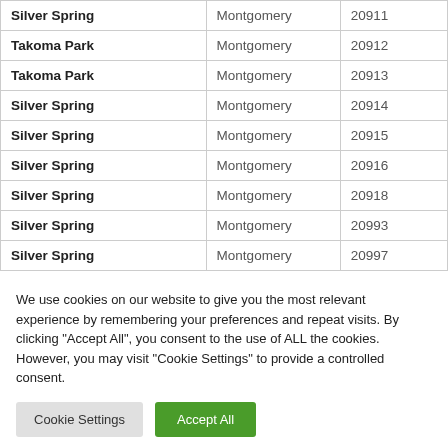| Silver Spring | Montgomery | 20911 |
| Takoma Park | Montgomery | 20912 |
| Takoma Park | Montgomery | 20913 |
| Silver Spring | Montgomery | 20914 |
| Silver Spring | Montgomery | 20915 |
| Silver Spring | Montgomery | 20916 |
| Silver Spring | Montgomery | 20918 |
| Silver Spring | Montgomery | 20993 |
| Silver Spring | Montgomery | 20997 |
We use cookies on our website to give you the most relevant experience by remembering your preferences and repeat visits. By clicking "Accept All", you consent to the use of ALL the cookies. However, you may visit "Cookie Settings" to provide a controlled consent.